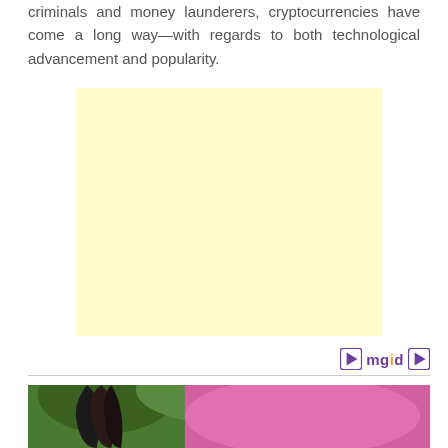criminals and money launderers, cryptocurrencies have come a long way—with regards to both technological advancement and popularity.
[Figure (other): Yellow/cream colored advertisement placeholder box]
[Figure (logo): mgid logo with play button icon in purple and orange]
[Figure (photo): Photo of a woman with dark hair in front of a pink surfboard or similar pink object, with green foliage in background]